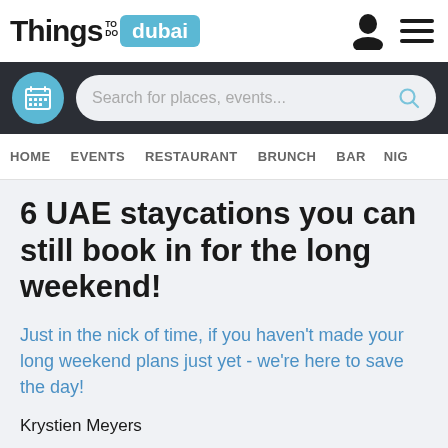Things TO DO dubai
[Figure (screenshot): Search bar with calendar icon and search field placeholder 'Search for places, events...' on dark background]
HOME   EVENTS   RESTAURANT   BRUNCH   BAR   NIG...
6 UAE staycations you can still book in for the long weekend!
Just in the nick of time, if you haven't made your long weekend plans just yet - we're here to save the day!
Krystien Meyers